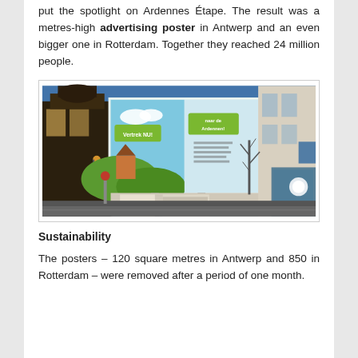put the spotlight on Ardennes Étape. The result was a metres-high advertising poster in Antwerp and an even bigger one in Rotterdam. Together they reached 24 million people.
[Figure (photo): Large advertising poster on the side of a building in a city street at dusk/evening, showing a Belgian Ardennes landscape promotional billboard with text 'Vertrek NU!' and 'naar de Ardennen!']
Sustainability
The posters – 120 square metres in Antwerp and 850 in Rotterdam – were removed after a period of one month.